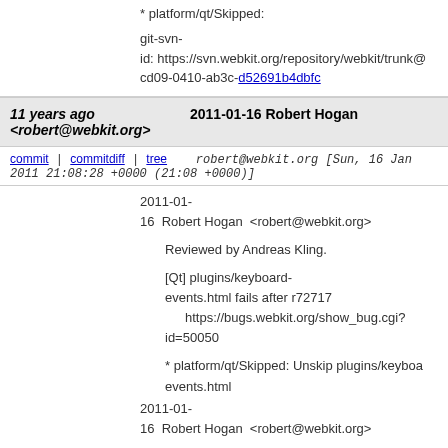* platform/qt/Skipped:
git-svn-id: https://svn.webkit.org/repository/webkit/trunk@ cd09-0410-ab3c-d52691b4dbfc
11 years ago <robert@webkit.org>  2011-01-16 Robert Hogan
commit | commitdiff | tree   robert@webkit.org [Sun, 16 Jan 2011 21:08:28 +0000 (21:08 +0000)]
2011-01-16  Robert Hogan  <robert@webkit.org>

        Reviewed by Andreas Kling.

        [Qt] plugins/keyboard-events.html fails after r72717
            https://bugs.webkit.org/show_bug.cgi?id=50050

        * platform/qt/Skipped: Unskip plugins/keyboard-events.html
2011-01-16  Robert Hogan  <robert@webkit.org>

        Reviewed by Andreas Kling.